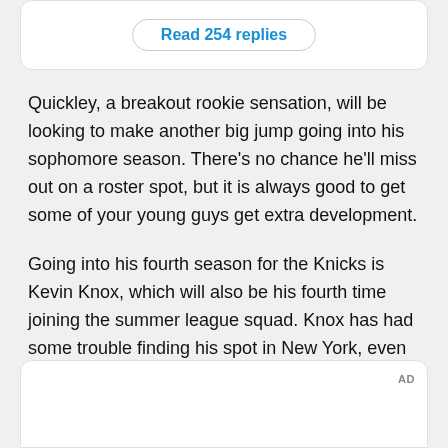Read 254 replies
Quickley, a breakout rookie sensation, will be looking to make another big jump going into his sophomore season. There's no chance he'll miss out on a roster spot, but it is always good to get some of your young guys get extra development.
Going into his fourth season for the Knicks is Kevin Knox, which will also be his fourth time joining the summer league squad. Knox has had some trouble finding his spot in New York, even after being a top-10 pick in his draft class.
AD